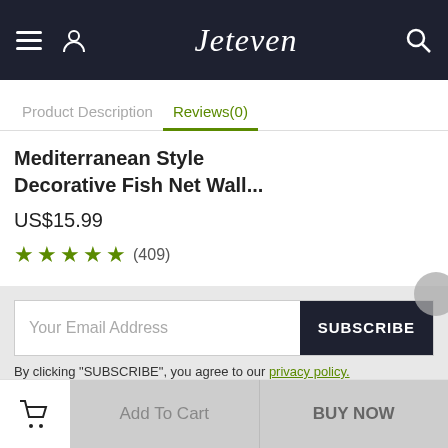Jeteven
Product Description | Reviews(0)
Mediterranean Style Decorative Fish Net Wall...
US$15.99
★★★★½ (409)
Your Email Address | SUBSCRIBE
By clicking "SUBSCRIBE", you agree to our privacy policy.
Sign up for you quickly
COMPANY INFORMATION
Add To Cart | BUY NOW